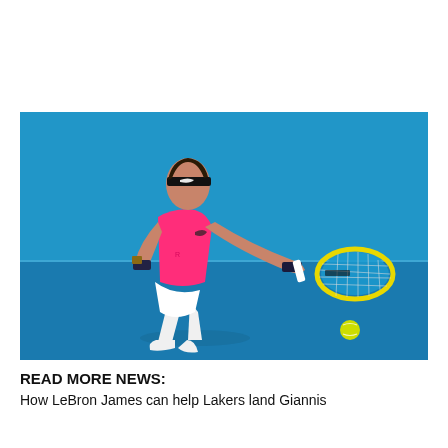[Figure (photo): A tennis player wearing a pink sleeveless shirt, white shorts, and a black headband hitting a forehand shot with a yellow and black racket on a blue court. A tennis ball is visible in the lower right. The player has dark hair and is wearing wristbands.]
READ MORE NEWS:
How LeBron James can help Lakers land Giannis